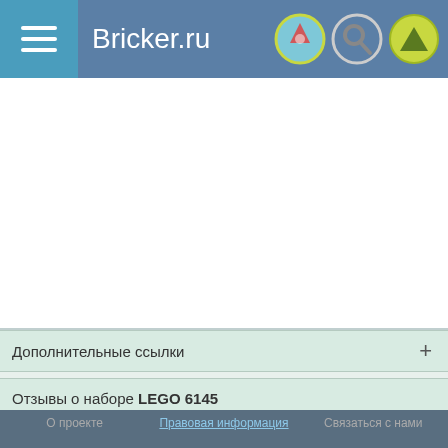Bricker.ru
[Figure (screenshot): Advertisement placeholder area (white/blank)]
Дополнительные ссылки +
Отзывы о наборе LEGO 6145
Пока нет отзывов
Авторизируйтесь, чтобы оставлять комментарии
О проекте   Правовая информация   Связаться с нами